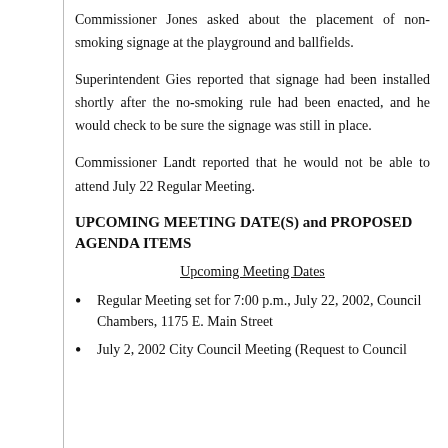Commissioner Jones asked about the placement of non-smoking signage at the playground and ballfields.
Superintendent Gies reported that signage had been installed shortly after the no-smoking rule had been enacted, and he would check to be sure the signage was still in place.
Commissioner Landt reported that he would not be able to attend July 22 Regular Meeting.
UPCOMING MEETING DATE(S) and PROPOSED AGENDA ITEMS
Upcoming Meeting Dates
Regular Meeting set for 7:00 p.m., July 22, 2002, Council Chambers, 1175 E. Main Street
July 2, 2002 City Council Meeting (Request to Council